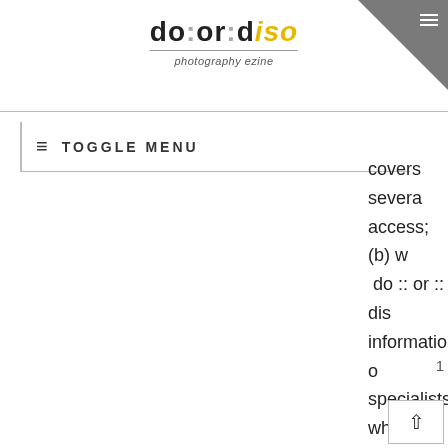do:or:diso photography ezine
TOGGLE MENU
covers severa access; (b) w do :: or :: dis information o specialists wh understand th and (c) a brie sports.
READ MORE
1